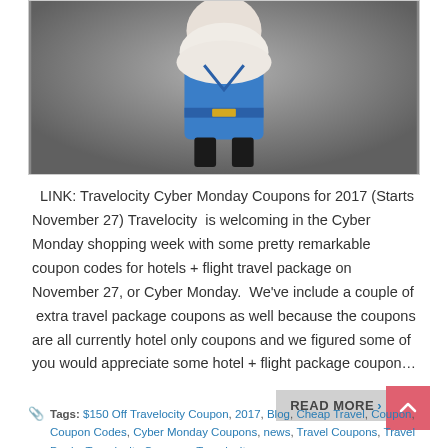[Figure (photo): Travelocity gnome figure wearing blue outfit with white beard and hair, photographed from behind/side angle against a grey background]
LINK: Travelocity Cyber Monday Coupons for 2017 (Starts November 27) Travelocity  is welcoming in the Cyber Monday shopping week with some pretty remarkable coupon codes for hotels + flight travel package on November 27, or Cyber Monday.  We've include a couple of  extra travel package coupons as well because the coupons are all currently hotel only coupons and we figured some of you would appreciate some hotel + flight package coupon…
READ MORE›
Tags: $150 Off Travelocity Coupon, 2017, Blog, Cheap Travel, Coupon, Coupon Codes, Cyber Monday Coupons, news, Travel Coupons, Travel Deals, Travelocity Coupons, Travelocity.com